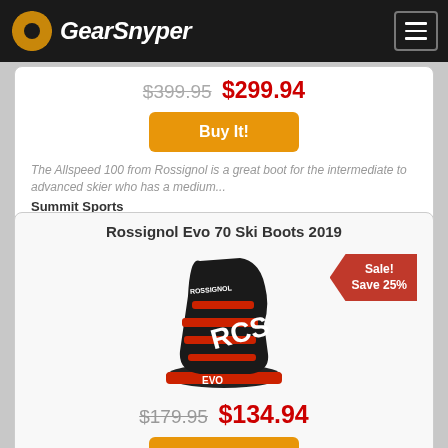GearSnyper
$399.95 $299.94
Buy It!
The Allspeed 100 from Rossignol is a great boot for the intermediate to advanced skier who has a medium...
Summit Sports
Rossignol Evo 70 Ski Boots 2019
[Figure (photo): Black and red Rossignol Evo ski boot with Sale! Save 25% badge]
$179.95 $134.94
Buy It!
The Rossignol Evo 70 is the perfect option for the beginner to mellow intermediate skier who has a medium...
Skis